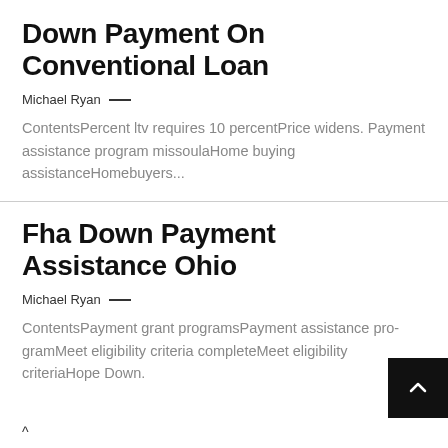Down Payment On Conventional Loan
Michael Ryan —
ContentsPercent ltv requires 10 percentPrice widens. Payment assistance program missoulaHome buying assistanceHomebuyers...
Fha Down Payment Assistance Ohio
Michael Ryan —
ContentsPayment grant programsPayment assistance pro- gramMeet eligibility criteria completeMeet eligibility criteriaHope Down.